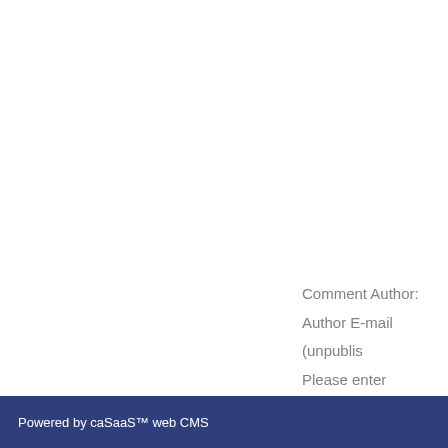Comment Author:
Author E-mail (unpublis
Please enter response:
Powered by caSaaS™ web CMS